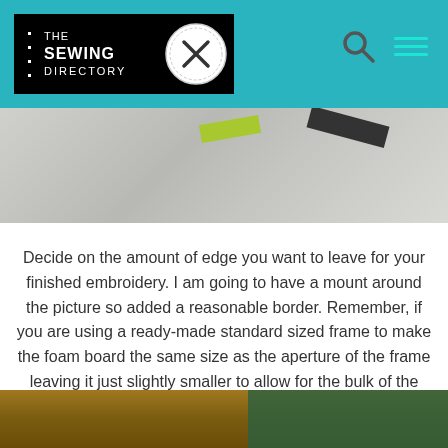THE SEWING DIRECTORY
[Figure (photo): Close-up photo of fabric/embroidery with a green ruler and black ruler visible on light grey linen fabric]
Decide on the amount of edge you want to leave for your finished embroidery. I am going to have a mount around the picture so added a reasonable border. Remember, if you are using a ready-made standard sized frame to make the foam board the same size as the aperture of the frame leaving it just slightly smaller to allow for the bulk of the fabric.
[Figure (photo): Partial view of cutting mat and wooden board on a table surface]